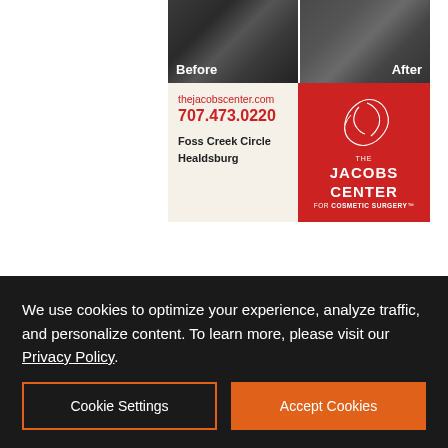[Figure (illustration): Jacobs Center for Cosmetic Surgery advertisement showing before/after hair restoration photos with contact information: thejacobscenter.com, 707.473.0220, Foss Creek Circle, Healdsburg, and logo on red background]
[Figure (illustration): Exchange Bank advertisement with orange EB logo, 'Community Strong.' text on navy blue background, Member FDIC, NMLS ID 643948]
We use cookies to optimize your experience, analyze traffic, and personalize content. To learn more, please visit our Privacy Policy.
Cookie Settings
Accept Cookies